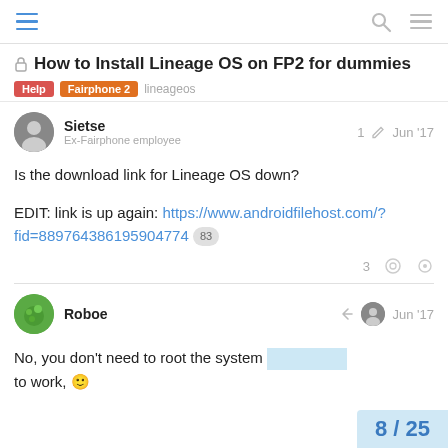Navigation bar with hamburger menu, search, and menu icons
How to Install Lineage OS on FP2 for dummies
Help  Fairphone 2  lineageos
Sietse
Ex-Fairphone employee
1  Jun '17
Is the download link for Lineage OS down?
EDIT: link is up again: https://www.androidfilehost.com/?fid=889764386195904774  83
3
Roboe  Jun '17
No, you don't need to root the system to work. 🙂
8 / 25